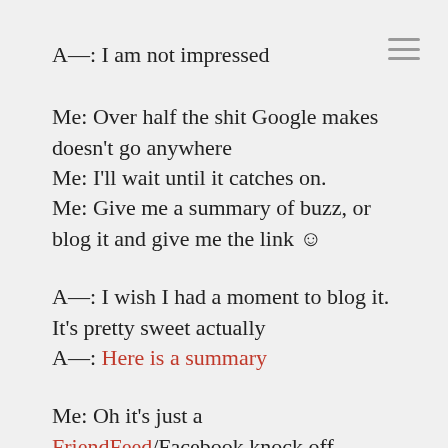A—: I am not impressed
Me: Over half the shit Google makes doesn't go anywhere
Me: I'll wait until it catches on.
Me: Give me a summary of buzz, or blog it and give me the link ☺
A—: I wish I had a moment to blog it. It's pretty sweet actually
A—: Here is a summary
Me: Oh it's just a FriendFeed/Facebook knock off.
Me: That won't fly. While I'm sure their filter will be way better than the others,
Google has gone down in a ball of flames for